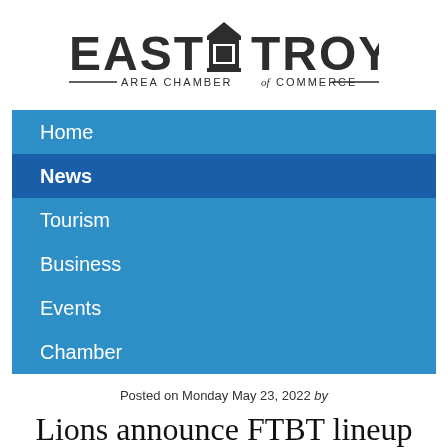[Figure (logo): East Troy Area Chamber of Commerce logo with building/barn icon between EAST and TROY text]
Home
News
Tourism
Business
Events
Chamber
Posted on Monday May 23, 2022 by
Lions announce FTBT lineup